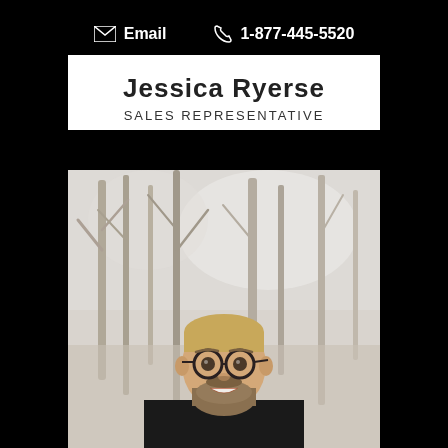Email  1-877-445-5520
Jessica Ryerse
SALES REPRESENTATIVE
[Figure (photo): Portrait photo of a young man with glasses and a beard, smiling, wearing a dark sweater, with blurred trees in the background (outdoor setting).]